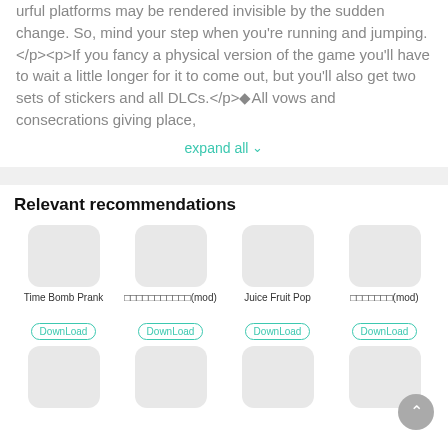urful platforms may be rendered invisible by the sudden change. So, mind your step when you're running and jumping.</p><p>If you fancy a physical version of the game you'll have to wait a little longer for it to come out, but you'll also get two sets of stickers and all DLCs.</p>◆All vows and consecrations giving place,
expand all ∨
Relevant recommendations
[Figure (other): App icon placeholder - gray rounded rectangle]
[Figure (other): App icon placeholder - gray rounded rectangle]
[Figure (other): App icon placeholder - gray rounded rectangle]
[Figure (other): App icon placeholder - gray rounded rectangle]
Time Bomb Prank
□□□□□□□□□□□(mod)
Juice Fruit Pop
□□□□□□□(mod)
DownLoad
DownLoad
DownLoad
DownLoad
[Figure (other): App icon placeholder - gray rounded rectangle (second row)]
[Figure (other): App icon placeholder - gray rounded rectangle (second row)]
[Figure (other): App icon placeholder - gray rounded rectangle (second row)]
[Figure (other): App icon placeholder - gray rounded rectangle (second row)]